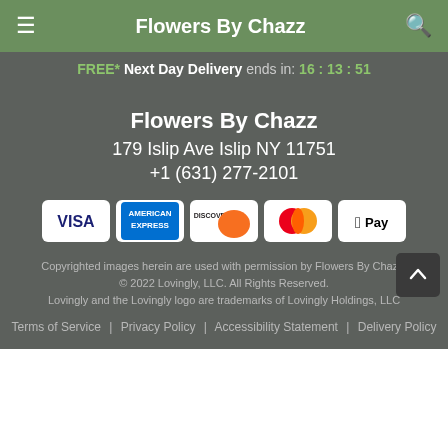Flowers By Chazz
FREE* Next Day Delivery ends in: 16:13:51
Flowers By Chazz
179 Islip Ave Islip NY 11751
+1 (631) 277-2101
[Figure (other): Payment method icons: VISA, American Express, Discover, Mastercard, Apple Pay]
Copyrighted images herein are used with permission by Flowers By Chazz.
© 2022 Lovingly, LLC. All Rights Reserved.
Lovingly and the Lovingly logo are trademarks of Lovingly Holdings, LLC
Terms of Service | Privacy Policy | Accessibility Statement | Delivery Policy